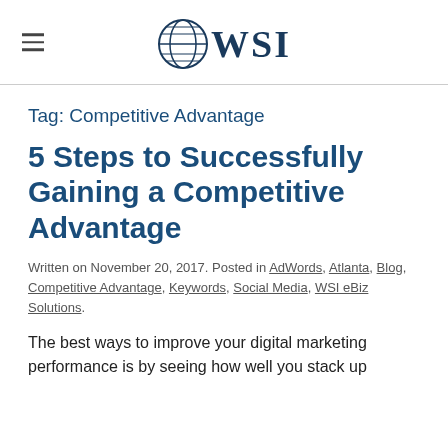WSI
Tag: Competitive Advantage
5 Steps to Successfully Gaining a Competitive Advantage
Written on November 20, 2017. Posted in AdWords, Atlanta, Blog, Competitive Advantage, Keywords, Social Media, WSI eBiz Solutions.
The best ways to improve your digital marketing performance is by seeing how well you stack up